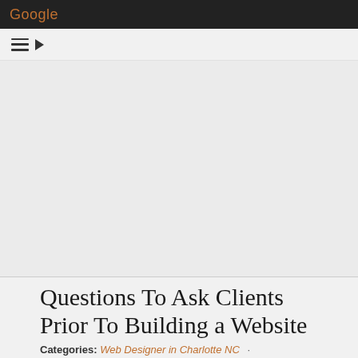Google
[Figure (screenshot): Navigation bar with hamburger menu icon and right-pointing arrow on light gray background]
[Figure (other): Gray advertisement area placeholder]
Questions To Ask Clients Prior To Building a Website
Categories: Web Designer in Charlotte NC ·